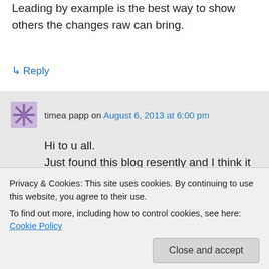Leading by example is the best way to show others the changes raw can bring.
↪ Reply
timea papp on August 6, 2013 at 6:00 pm
Hi to u all. Just found this blog resently and I think it is amazing. Have been living healthypretty much through all my life.exercise takes part
Privacy & Cookies: This site uses cookies. By continuing to use this website, you agree to their use. To find out more, including how to control cookies, see here: Cookie Policy
Close and accept
more and more row food to my body.all my